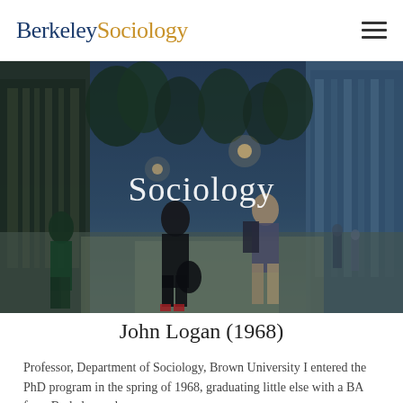Berkeley Sociology
[Figure (photo): Photograph of students walking through Sather Gate on the UC Berkeley campus at dusk, with trees and ornate gate structures visible. The word 'Sociology' is overlaid in white text in the center.]
John Logan (1968)
Professor, Department of Sociology, Brown University I entered the PhD program in the spring of 1968, graduating little else with a BA from Berkeley and